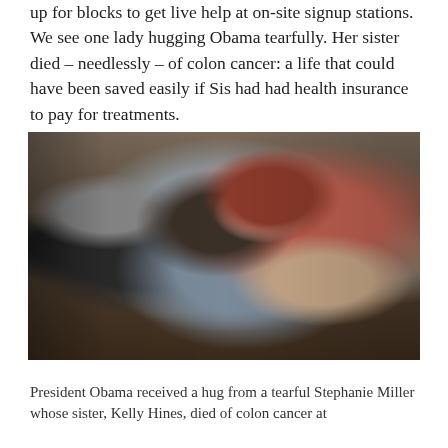up for blocks to get live help at on-site signup stations. We see one lady hugging Obama tearfully. Her sister died – needlessly – of colon cancer: a life that could have been saved easily if Sis had had health insurance to pay for treatments.
[Figure (photo): A woman with red hair and sunglasses on top of her head tearfully hugging President Obama, who is seen from behind. Several other people are visible in the crowded scene.]
President Obama received a hug from a tearful Stephanie Miller whose sister, Kelly Hines, died of colon cancer at